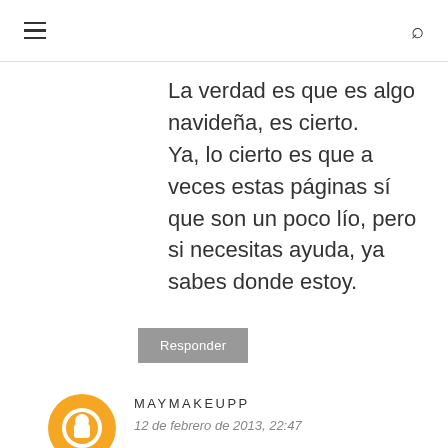≡  🔍
La verdad es que es algo navideña, es cierto.
Ya, lo cierto es que a veces estas páginas sí que son un poco lío, pero si necesitas ayuda, ya sabes donde estoy.
Responder
MAYMAKEUPP
12 de febrero de 2013, 22:47
Pues si que es bonita si... hay